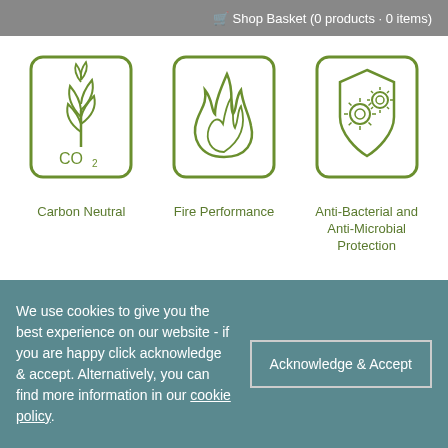Shop Basket (0 products - 0 items)
[Figure (illustration): Green outline icon of a plant with CO2 label inside a rounded rectangle card]
Carbon Neutral
[Figure (illustration): Green outline icon of a flame inside a rounded rectangle card]
Fire Performance
[Figure (illustration): Green outline icon of a shield with virus/bacteria symbols inside a rounded rectangle card]
Anti-Bacterial and Anti-Microbial Protection
[Figure (illustration): Green outline icon of a shield with electricity/spark symbol inside a rounded rectangle card (partial, bottom row)]
[Figure (illustration): Green outline icon of a curving shape inside a rounded rectangle card (partial, bottom row)]
We use cookies to give you the best experience on our website - if you are happy click acknowledge & accept. Alternatively, you can find more information in our cookie policy.
Acknowledge & Accept